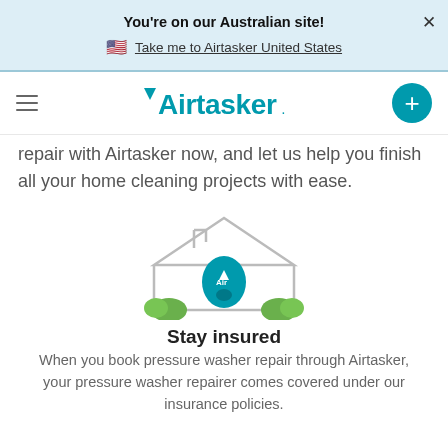You're on our Australian site!
Take me to Airtasker United States
[Figure (logo): Airtasker logo with navigation hamburger menu and plus button]
repair with Airtasker now, and let us help you finish all your home cleaning projects with ease.
[Figure (illustration): House illustration with a location pin containing the Airtasker logo and green bushes]
Stay insured
When you book pressure washer repair through Airtasker, your pressure washer repairer comes covered under our insurance policies.